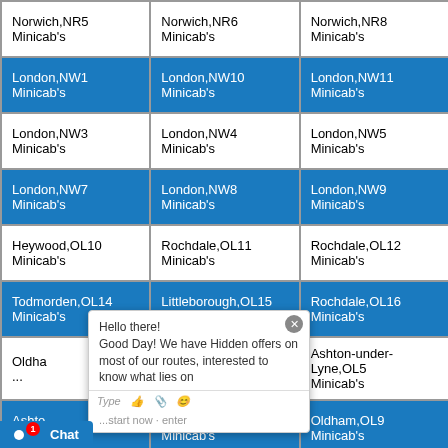| Norwich,NR5 Minicab's | Norwich,NR6 Minicab's | Norwich,NR8 Minicab's |
| London,NW1 Minicab's | London,NW10 Minicab's | London,NW11 Minicab's |
| London,NW3 Minicab's | London,NW4 Minicab's | London,NW5 Minicab's |
| London,NW7 Minicab's | London,NW8 Minicab's | London,NW9 Minicab's |
| Heywood,OL10 Minicab's | Rochdale,OL11 Minicab's | Rochdale,OL12 Minicab's |
| Todmorden,OL14 Minicab's | Littleborough,OL15 Minicab's | Rochdale,OL16 Minicab's |
| Oldha[m,OL3 Minicab's] | Oldham,OL4 Minicab's | Ashton-under-Lyne,OL5 Minicab's |
| Ashton-under-Lyne,OL[6 Minicab's] | Oldham,OL8 Minicab's | Oldham,OL9 Minicab's |
| Wallin[gford,OX10 Minicab's] | Didcot,OX11 Minicab's | Wantage,OX12 Minicab's |
| [Chipping Norton,]OX14 Minicab's | Banbury,OX15 Minicab's | Banbury,OX16 Minicab's |